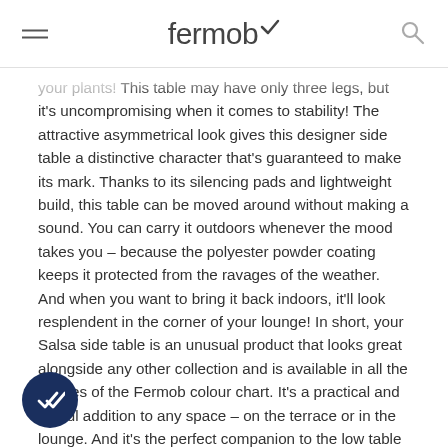Fermob
your plants! This table may have only three legs, but it's uncompromising when it comes to stability! The attractive asymmetrical look gives this designer side table a distinctive character that's guaranteed to make its mark. Thanks to its silencing pads and lightweight build, this table can be moved around without making a sound. You can carry it outdoors whenever the mood takes you – because the polyester powder coating keeps it protected from the ravages of the weather. And when you want to bring it back indoors, it'll look resplendent in the corner of your lounge! In short, your Salsa side table is an unusual product that looks great alongside any other collection and is available in all the shades of the Fermob colour chart. It's a practical and useful addition to any space – on the terrace or in the lounge. And it's the perfect companion to the low table from the same range. It looks great at the end of a Bellevie sofa, and it makes the ideal mini-bar as an addition to your dining set!